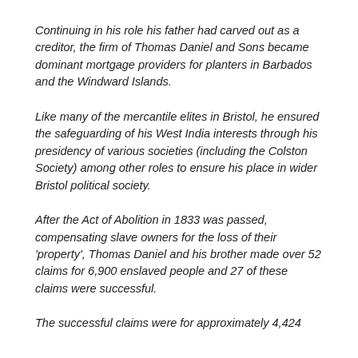Continuing in his role his father had carved out as a creditor, the firm of Thomas Daniel and Sons became dominant mortgage providers for planters in Barbados and the Windward Islands.
Like many of the mercantile elites in Bristol, he ensured the safeguarding of his West India interests through his presidency of various societies (including the Colston Society) among other roles to ensure his place in wider Bristol political society.
After the Act of Abolition in 1833 was passed, compensating slave owners for the loss of their 'property', Thomas Daniel and his brother made over 52 claims for 6,900 enslaved people and 27 of these claims were successful.
The successful claims were for approximately 4,424